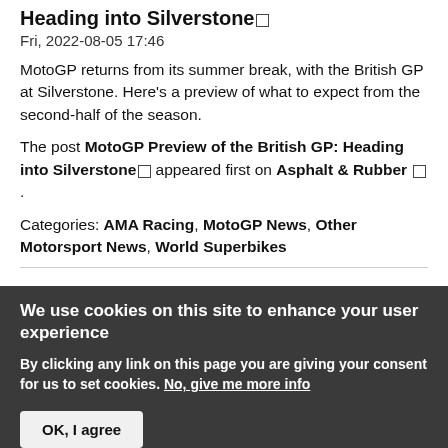Heading into Silverstone
Fri, 2022-08-05 17:46
MotoGP returns from its summer break, with the British GP at Silverstone. Here's a preview of what to expect from the second-half of the season.
The post MotoGP Preview of the British GP: Heading into Silverstone appeared first on Asphalt & Rubber.
Categories: AMA Racing, MotoGP News, Other Motorsport News, World Superbikes
We use cookies on this site to enhance your user experience
By clicking any link on this page you are giving your consent for us to set cookies. No, give me more info
OK, I agree